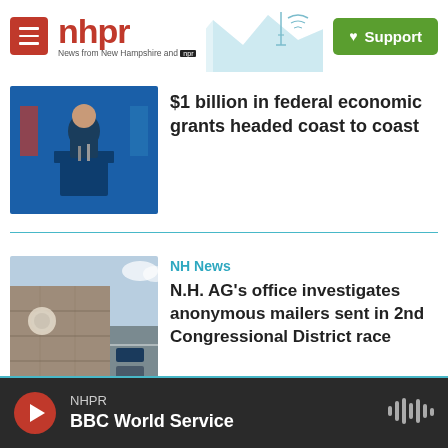nhpr - News from New Hampshire and NPR
[Figure (photo): Photo of President Biden speaking at a podium with blue background]
$1 billion in federal economic grants headed coast to coast
[Figure (photo): Photo of a government building exterior with parking lot]
NH News
N.H. AG's office investigates anonymous mailers sent in 2nd Congressional District race
NHPR BBC World Service